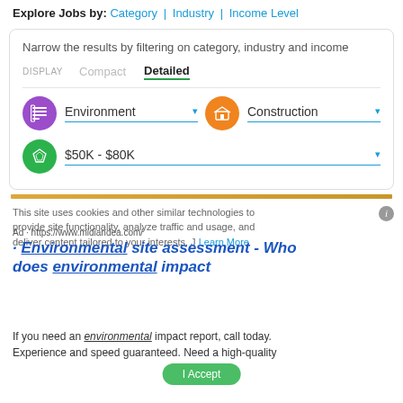Explore Jobs by: Category | Industry | Income Level
Narrow the results by filtering on category, industry and income
DISPLAY   Compact   Detailed
Environment ▾   Construction ▾
$50K - $80K ▾
This site uses cookies and other similar technologies to provide site functionality, analyze traffic and usage, and deliver content tailored to your interests. Learn More
Ad · https://www.midiandea.com/
Environmental site assessment - Who does environmental impact
If you need an environmental impact report, call today. Experience and speed guaranteed. Need a high-quality